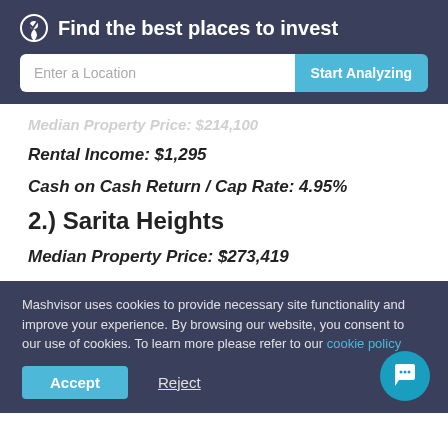Find the best places to invest
Enter a Location | Start Analyzing
Median Property Price: $214,100
Rental Income: $1,295
Cash on Cash Return / Cap Rate: 4.95%
2.) Sarita Heights
Median Property Price: $273,419
Mashvisor uses cookies to provide necessary site functionality and improve your experience. By browsing our website, you consent to our use of cookies. To learn more please refer to our cookie policy
Accept
Reject